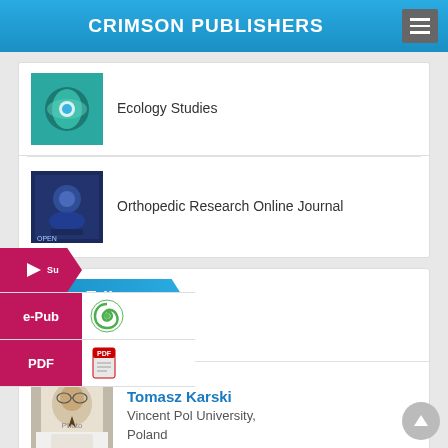CRIMSON PUBLISHERS
Ecology Studies
Orthopedic Research Online Journal
Top Editors
Tomasz Karski
Vincent Pol University, Poland
Thamil Selvam